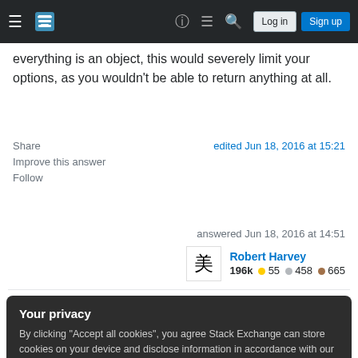Stack Exchange navigation bar with Log in and Sign up buttons
everything is an object, this would severely limit your options, as you wouldn't be able to return anything at all.
Share
Improve this answer
Follow
edited Jun 18, 2016 at 15:21
answered Jun 18, 2016 at 14:51
Robert Harvey
196k ● 55 ● 458 ● 665
Your privacy
By clicking "Accept all cookies", you agree Stack Exchange can store cookies on your device and disclose information in accordance with our Cookie Policy.
@user2180613 -- If you wanted to ask about